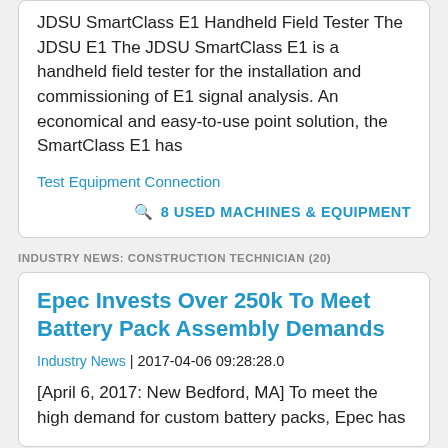JDSU SmartClass E1 Handheld Field Tester The JDSU E1 The JDSU SmartClass E1 is a handheld field tester for the installation and commissioning of E1 signal analysis. An economical and easy-to-use point solution, the SmartClass E1 has
Test Equipment Connection
🔍 8 USED MACHINES & EQUIPMENT
INDUSTRY NEWS: CONSTRUCTION TECHNICIAN (20)
Epec Invests Over 250k To Meet Battery Pack Assembly Demands
Industry News | 2017-04-06 09:28:28.0
[April 6, 2017: New Bedford, MA] To meet the high demand for custom battery packs, Epec has